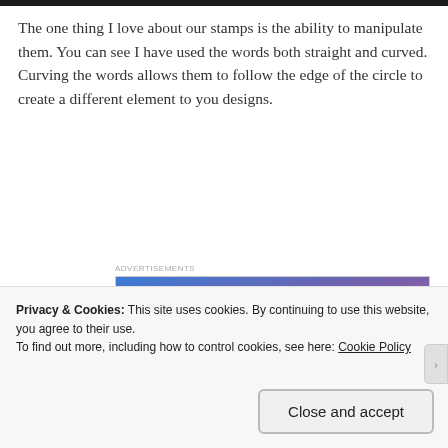[Figure (photo): Dark/black strip at top of page, partial image cropped]
The one thing I love about our stamps is the ability to manipulate them. You can see I have used the words both straight and curved. Curving the words allows them to follow the edge of the circle to create a different element to you designs.
[Figure (other): Advertisement banner: 'Simplified pricing for everything you need.' with WordPress.com logo on blue-purple gradient background]
[Figure (photo): Partial photo of dark background craft/stamp scene]
Privacy & Cookies: This site uses cookies. By continuing to use this website, you agree to their use.
To find out more, including how to control cookies, see here: Cookie Policy
Close and accept